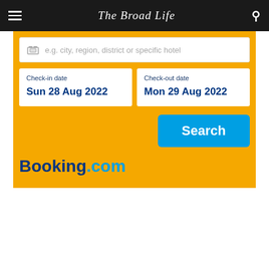The Broad Life
[Figure (screenshot): Booking.com hotel search widget on The Broad Life website. Contains a search input field with placeholder 'e.g. city, region, district or specific hotel', check-in date 'Sun 28 Aug 2022', check-out date 'Mon 29 Aug 2022', a blue Search button, and the Booking.com logo on a yellow background.]